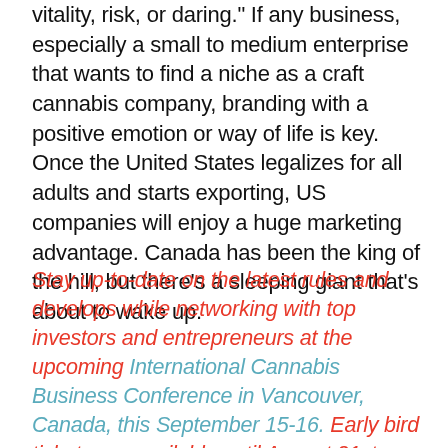vitality, risk, or daring." If any business, especially a small to medium enterprise that wants to find a niche as a craft cannabis company, branding with a positive emotion or way of life is key. Once the United States legalizes for all adults and starts exporting, US companies will enjoy a huge marketing advantage. Canada has been the king of the hill, but there’s a sleeping giant that’s about to wake up.
Stay up-to-date on the latest rules and develops while networking with top investors and entrepreneurs at the upcoming International Cannabis Business Conference in Vancouver, Canada, this September 15-16. Early bird tickets are available until August 21st. After the British Columbia excursion, we’ll be heading to San Francisco, California, on February 6-7.